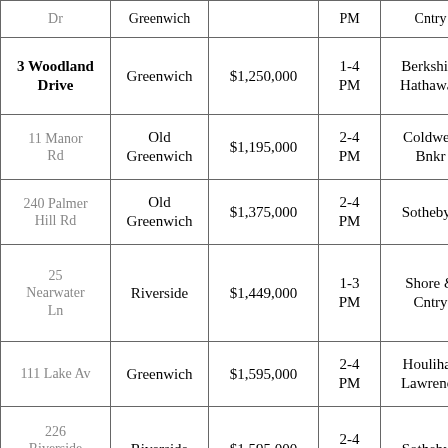| Address | Town | Price | Time | Broker |
| --- | --- | --- | --- | --- |
| Dr | Greenwich |  | PM | Cntry |
| 3 Woodland Drive | Greenwich | $1,250,000 | 1-4 PM | Berkshire Hathaway |
| 11 Manor Rd | Old Greenwich | $1,195,000 | 2-4 PM | Coldwell Bnkr |
| 240 Palmer Hill Rd | Old Greenwich | $1,375,000 | 2-4 PM | Sotheby's |
| 25 Nearwater Ln | Riverside | $1,449,000 | 1-3 PM | Shore & Cntry |
| 111 Lake Av | Greenwich | $1,595,000 | 2-4 PM | Houlihan Lawrence |
| 226 Riverside Av | Riverside | $1,595,000 | 2-4 PM | Sotheby's |
| 88 Starin Dr | Stamford | $1,699,000 | 1-4 PM | Berkshire Hathaway |
| 469 | Greenwich | $... | 1-4 | W... |